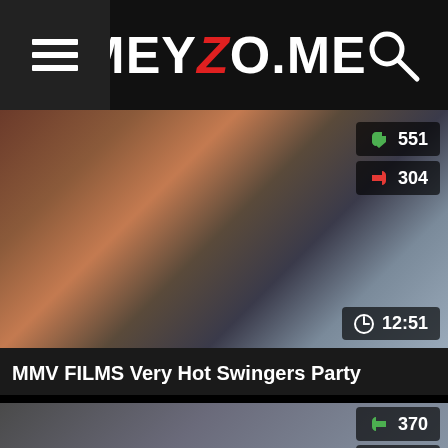MEYZO.ME
[Figure (screenshot): Video thumbnail showing two women, one with red hair and one with short blonde/white hair. Vote counts: 551 up, 304 down. Duration: 12:51.]
MMV FILMS Very Hot Swingers Party
[Figure (screenshot): Second video thumbnail partially visible at bottom. Vote counts: 370 up, 246 down.]